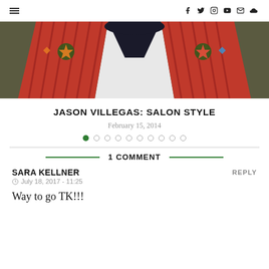≡  f  y  Instagram  YouTube  Mail  SoundCloud
[Figure (photo): Close-up photo of a person wearing a red and black striped shirt with dark velvet collar and colorful embroidered floral patches on the shoulders]
JASON VILLEGAS: SALON STYLE
February 15, 2014
1 COMMENT
SARA KELLNER
July 18, 2017 - 11:25
Way to go TK!!!